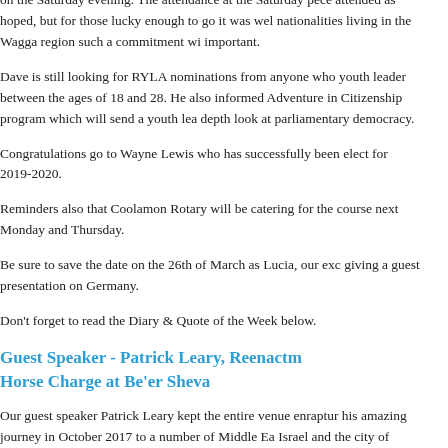on the Saturday evening. The attendance at the Saturday pece attended as hoped, but for those lucky enough to go it was wel nationalities living in the Wagga region such a commitment wi important.
Dave is still looking for RYLA nominations from anyone who youth leader between the ages of 18 and 28. He also informed Adventure in Citizenship program which will send a youth lea depth look at parliamentary democracy.
Congratulations go to Wayne Lewis who has successfully been elect for 2019-2020.
Reminders also that Coolamon Rotary will be catering for the course next Monday and Thursday.
Be sure to save the date on the 26th of March as Lucia, our exc giving a guest presentation on Germany.
Don't forget to read the Diary & Quote of the Week below.
Guest Speaker - Patrick Leary, Reenactm Horse Charge at Be'er Sheva
Our guest speaker Patrick Leary kept the entire venue enraptur his amazing journey in October 2017 to a number of Middle Ea Israel and the city of Be'er Sheva to retrace the steps and reena 12th Light Horse 100 years ago.